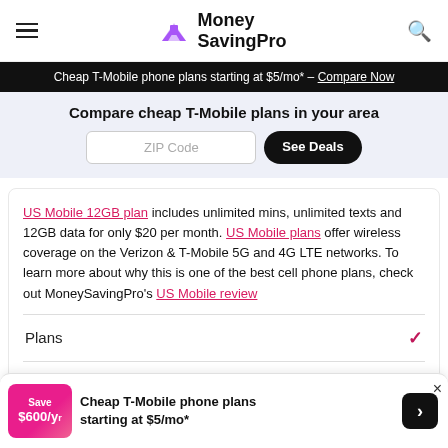MoneySavingPro
Cheap T-Mobile phone plans starting at $5/mo* - Compare Now
Compare cheap T-Mobile plans in your area
US Mobile 12GB plan includes unlimited mins, unlimited texts and 12GB data for only $20 per month. US Mobile plans offer wireless coverage on the Verizon & T-Mobile 5G and 4G LTE networks. To learn more about why this is one of the best cell phone plans, check out MoneySavingPro's US Mobile review
Plans
Review
Cheap T-Mobile phone plans starting at $5/mo*